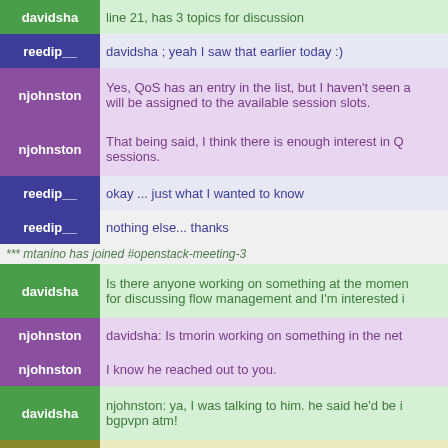davidsha | line 21, has 3 topics for discussion
reedip__ | davidsha ; yeah I saw that earlier today :)
njohnston | Yes, QoS has an entry in the list, but I haven't seen a... will be assigned to the available session slots.
njohnston | That being said, I think there is enough interest in Q... sessions.
reedip__ | okay ... just what I wanted to know
reedip__ | nothing else... thanks
*** mtanino has joined #openstack-meeting-3
davidsha | Is there anyone working on something at the momen... for discussing flow management and I'm interested i
njohnston | davidsha: Is tmorin working on something in the net
njohnston | I know he reached out to you.
davidsha | njohnston: ya, I was talking to him. he said he'd be i... bgpvpn atm!
ihrachys | davidsha: sfc?
*** hosanai has joined #openstack-meeting-3
njohnston | Well, we are almost out of time, does anyone have a
davidsha | ihrachys: I was talking to someone from sfc but they... I'll ask some more. there is tap-aas as well but sfc an... yet